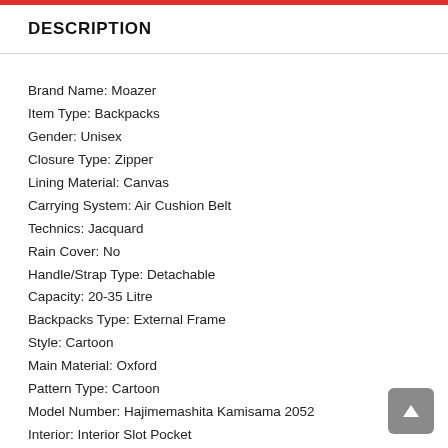DESCRIPTION
Brand Name: Moazer
Item Type: Backpacks
Gender: Unisex
Closure Type: Zipper
Lining Material: Canvas
Carrying System: Air Cushion Belt
Technics: Jacquard
Rain Cover: No
Handle/Strap Type: Detachable
Capacity: 20-35 Litre
Backpacks Type: External Frame
Style: Cartoon
Main Material: Oxford
Pattern Type: Cartoon
Model Number: Hajimemashita Kamisama 2052
Interior: Interior Slot Pocket
Decoration: None